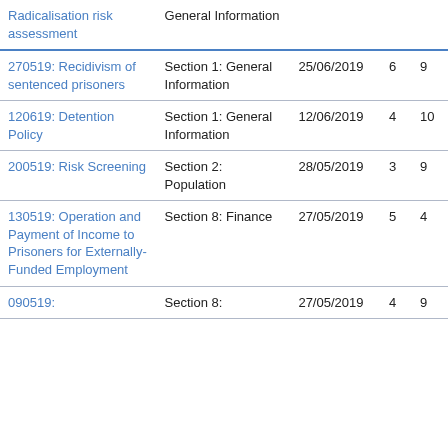|  |  |  |  |  |
| --- | --- | --- | --- | --- |
| Radicalisation risk assessment | General Information |  |  |  |
| 270519: Recidivism of sentenced prisoners | Section 1: General Information | 25/06/2019 | 6 | 9 |
| 120619: Detention Policy | Section 1: General Information | 12/06/2019 | 4 | 10 |
| 200519: Risk Screening | Section 2: Population | 28/05/2019 | 3 | 9 |
| 130519: Operation and Payment of Income to Prisoners for Externally-Funded Employment | Section 8: Finance | 27/05/2019 | 5 | 4 |
| 090519: | Section 8: | 27/05/2019 | 4 | 9 |